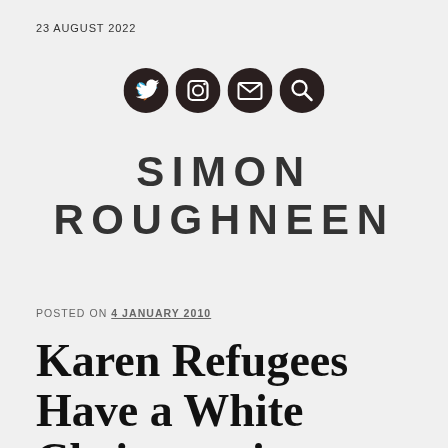23 AUGUST 2022
[Figure (infographic): Four dark circular social media icons: Twitter bird, Instagram camera, email envelope, and search magnifying glass]
SIMON ROUGHNEEN
POSTED ON 4 JANUARY 2010
Karen Refugees Have a White Christmas in Ireland – The